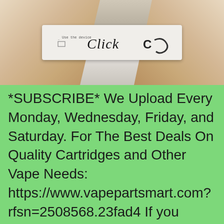[Figure (photo): Close-up photo of two hands holding a small white card or device with cursive text reading 'Click' and a logo. Background is light/white.]
*SUBSCRIBE* We Upload Every Monday, Wednesday, Friday, and Saturday. For The Best Deals On Quality Cartridges and Other Vape Needs: https://www.vapepartsmart.com?rfsn=2508568.23fad4 If you would like to support our channel https://www.patreon.com/cncconnoisseurs Thanks for tuning in, and be sure to comment below with anything you would like to see CHEERS!! John. C&C Connoisseurs is based out of...